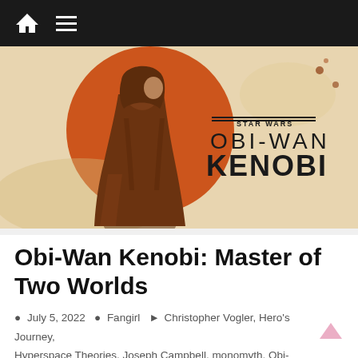Navigation bar with home and menu icons
[Figure (illustration): Obi-Wan Kenobi Disney+ series promotional artwork showing a robed figure standing before a large orange circle, with Star Wars Obi-Wan Kenobi logo]
Obi-Wan Kenobi: Master of Two Worlds
July 5, 2022 · Fangirl · Christopher Vogler, Hero's Journey, Hyperspace Theories, Joseph Campbell, monomyth, Obi-Wan Kenobi, Obi-Wan Kenobi (Disney+ series), podcast, Star Wars